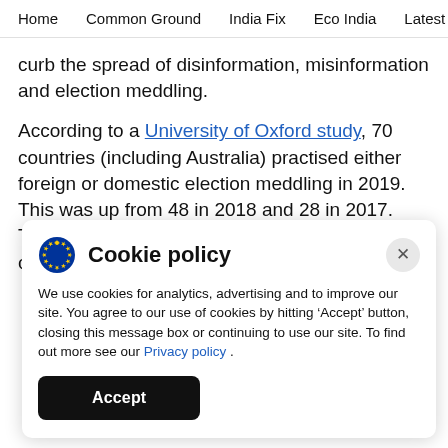Home   Common Ground   India Fix   Eco India   Latest   Th
curb the spread of disinformation, misinformation and election meddling.
According to a University of Oxford study, 70 countries (including Australia) practised either foreign or domestic election meddling in 2019. This was up from 48 in 2018 and 28 in 2017. The study said Facebook was “the platform of choice” for this.
Cookie policy
We use cookies for analytics, advertising and to improve our site. You agree to our use of cookies by hitting ‘Accept’ button, closing this message box or continuing to use our site. To find out more see our Privacy policy .
Accept